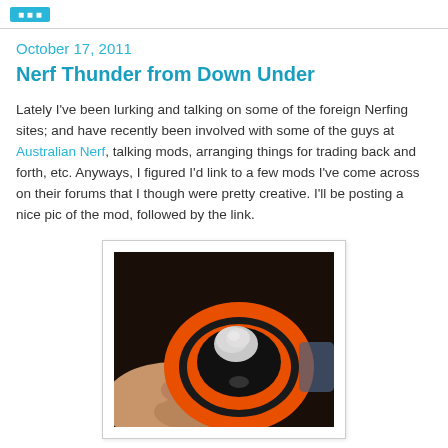October 17, 2011
Nerf Thunder from Down Under
Lately I've been lurking and talking on some of the foreign Nerfing sites; and have recently been involved with some of the guys at Australian Nerf, talking mods, arranging things for trading back and forth, etc. Anyways, I figured I'd link to a few mods I've come across on their forums that I though were pretty creative. I'll be posting a nice pic of the mod, followed by the link.
[Figure (photo): A hand holding a circular orange and black Nerf mod part with a white clay or putty piece on top, photographed against a dark background.]